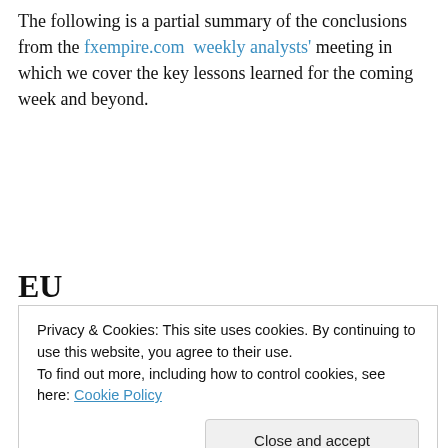The following is a partial summary of the conclusions from the fxempire.com weekly analysts' meeting in which we cover the key lessons learned for the coming week and beyond.
EU
Privacy & Cookies: This site uses cookies. By continuing to use this website, you agree to their use.
To find out more, including how to control cookies, see here: Cookie Policy